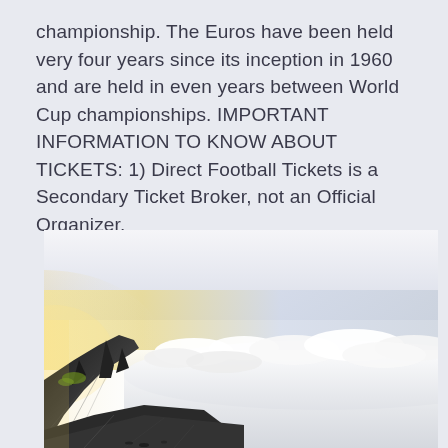championship. The Euros have been held very four years since its inception in 1960 and are held in even years between World Cup championships. IMPORTANT INFORMATION TO KNOW ABOUT TICKETS: 1) Direct Football Tickets is a Secondary Ticket Broker, not an Official Organizer.
[Figure (photo): Aerial mountain landscape photo showing rocky mountain peaks in the foreground left with jagged silhouette against a bright sky. Below is a vast sea of white clouds extending to the horizon, with warm sunrise/sunset light glowing from the left side.]